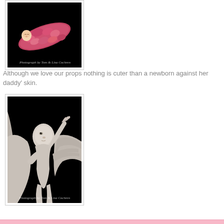[Figure (photo): Newborn baby wrapped in pink/rose petals against black background, with watermark 'Photograph by Tom & Lisa Cochren']
Although we love our props nothing is cuter than a newborn against her daddy' skin.
[Figure (photo): Black and white photo of newborn baby held against father's bare chest skin, with watermark 'Photograph by Tom & Lisa Cochren']